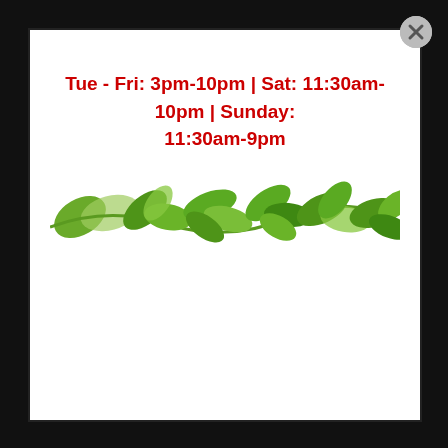Tue - Fri: 3pm-10pm | Sat: 11:30am-10pm | Sunday: 11:30am-9pm
[Figure (illustration): Decorative horizontal banner with green leaf vine pattern on white background]